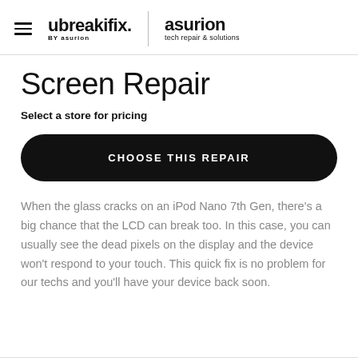[Figure (logo): ubreakifix by asurion logo with hamburger menu icon, vertical divider, and asurion tech repair & solutions logo]
Screen Repair
Select a store for pricing
CHOOSE THIS REPAIR
When the glass cracks on an iPod Nano 7th Gen, there’s a big chance that the LCD can break too. In this case, you can usually see the dead pixels on the display and the device won’t respond to your touch. This quick fix is no problem for our techs and you’ll have your device back soon.